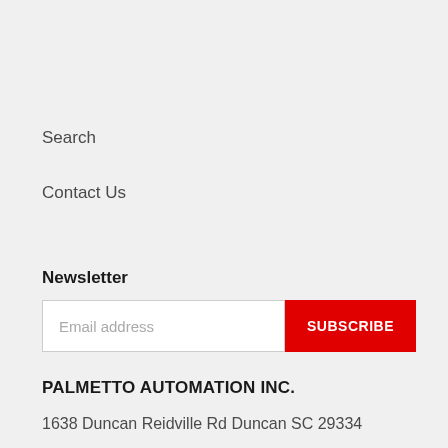Search
Contact Us
Newsletter
[Figure (other): Email address input field with red SUBSCRIBE button]
PALMETTO AUTOMATION INC.
1638 Duncan Reidville Rd Duncan SC 29334